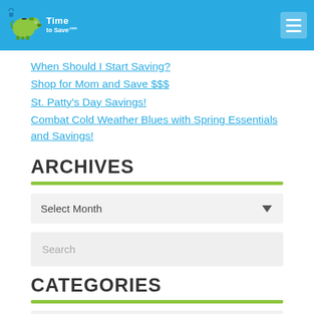Time to Save [logo with piggy bank icon] — navigation menu button
When Should I Start Saving?
Shop for Mom and Save $$$
St. Patty's Day Savings!
Combat Cold Weather Blues with Spring Essentials and Savings!
ARCHIVES
Select Month (dropdown)
Search (search box)
CATEGORIES
Select Cat... (partially visible dropdown)